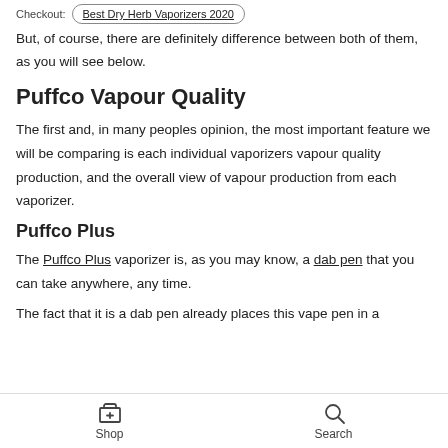Checkout:  Best Dry Herb Vaporizers 2020
But, of course, there are definitely difference between both of them, as you will see below.
Puffco Vapour Quality
The first and, in many peoples opinion, the most important feature we will be comparing is each individual vaporizers vapour quality production, and the overall view of vapour production from each vaporizer.
Puffco Plus
The Puffco Plus vaporizer is, as you may know, a dab pen that you can take anywhere, any time.
The fact that it is a dab pen already places this vape pen in a
Shop  Search